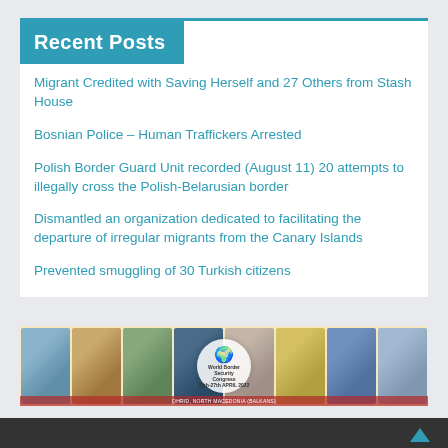Recent Posts
Migrant Credited with Saving Herself and 27 Others from Stash House
Bosnian Police – Human Traffickers Arrested
Polish Border Guard Unit recorded (August 11) 20 attempts to illegally cross the Polish-Belarusian border
Dismantled an organization dedicated to facilitating the departure of irregular migrants from the Canary Islands
Prevented smuggling of 30 Turkish citizens
[Figure (illustration): World Border Security Congress banner with collage of border security related photographs and central logo]